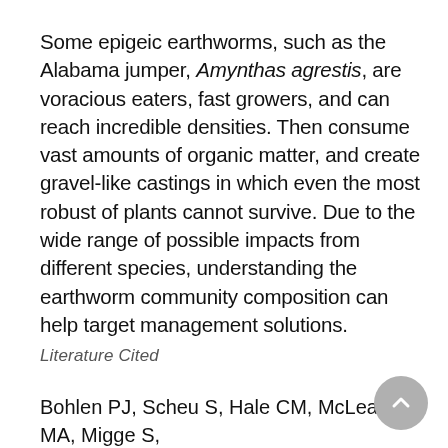Some epigeic earthworms, such as the Alabama jumper, Amynthas agrestis, are voracious eaters, fast growers, and can reach incredible densities. Then consume vast amounts of organic matter, and create gravel-like castings in which even the most robust of plants cannot survive. Due to the wide range of possible impacts from different species, understanding the earthworm community composition can help target management solutions.
Literature Cited
Bohlen PJ, Scheu S, Hale CM, McLean MA, Migge S, Groffman PM, Parkinson D. 2004. Non-native...